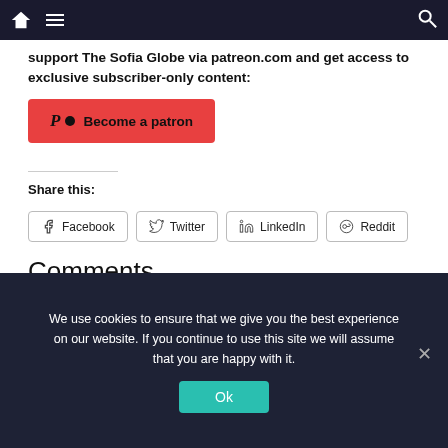Navigation bar with home, menu, and search icons
support The Sofia Globe via patreon.com and get access to exclusive subscriber-only content:
[Figure (other): Red Patreon button with Patreon logo icon and text 'Become a patron']
Share this:
Facebook  Twitter  LinkedIn  Reddit
Comments
We use cookies to ensure that we give you the best experience on our website. If you continue to use this site we will assume that you are happy with it.